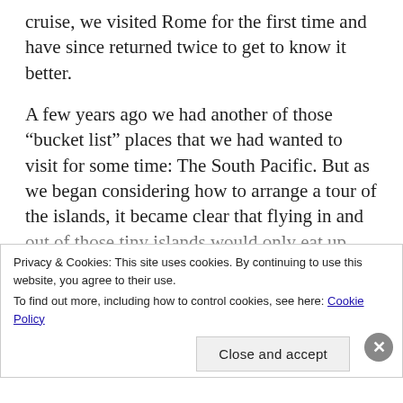cruise, we visited Rome for the first time and have since returned twice to get to know it better.
A few years ago we had another of those “bucket list” places that we had wanted to visit for some time: The South Pacific. But as we began considering how to arrange a tour of the islands, it became clear that flying in and out of those tiny islands would only eat up valuable time with at least a half a day each time devoted to airports and flying – and that’s if there are no delays. A small boat didn’t seem like a good idea at all since the
Privacy & Cookies: This site uses cookies. By continuing to use this website, you agree to their use.
To find out more, including how to control cookies, see here: Cookie Policy